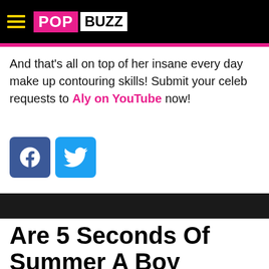POPBUZZ
And that's all on top of her insane every day make up contouring skills! Submit your celeb requests to Aly on YouTube now!
[Figure (other): Facebook and Twitter social share icons]
Are 5 Seconds Of Summer A Boy Band?: YOU DECIDE